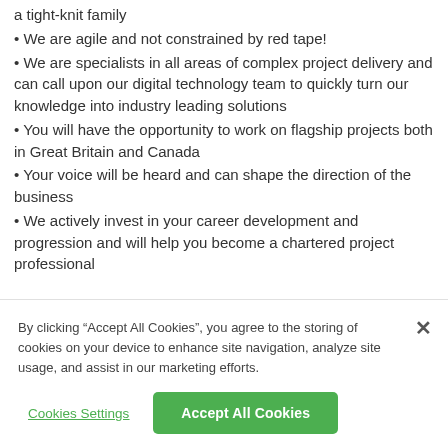a tight-knit family
• We are agile and not constrained by red tape!
• We are specialists in all areas of complex project delivery and can call upon our digital technology team to quickly turn our knowledge into industry leading solutions
• You will have the opportunity to work on flagship projects both in Great Britain and Canada
• Your voice will be heard and can shape the direction of the business
• We actively invest in your career development and progression and will help you become a chartered project professional
By clicking “Accept All Cookies”, you agree to the storing of cookies on your device to enhance site navigation, analyze site usage, and assist in our marketing efforts.
Cookies Settings
Accept All Cookies